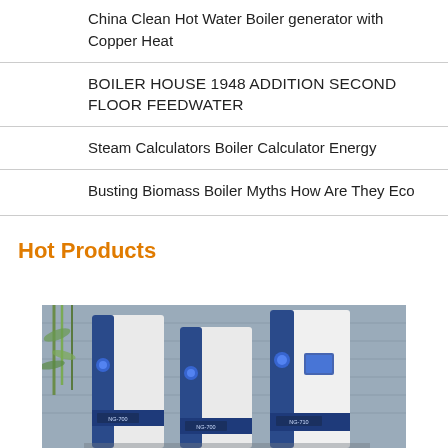China Clean Hot Water Boiler generator with Copper Heat
BOILER HOUSE 1948 ADDITION SECOND FLOOR FEEDWATER
Steam Calculators Boiler Calculator Energy
Busting Biomass Boiler Myths How Are They Eco
Hot Products
[Figure (photo): Row of industrial hot water boiler units (blue and white, labeled NG-700, NG-700, NG-710) displayed outdoors against a textured grey wall with bamboo plants in the background.]